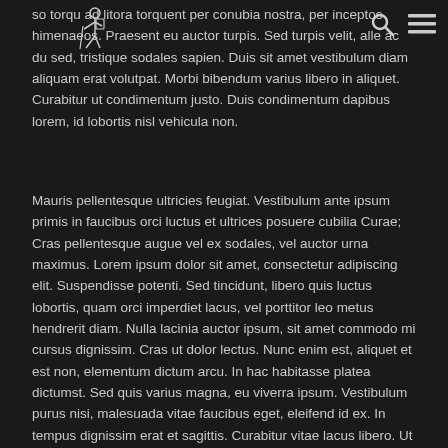Logo and navigation icons
so torqu ad litora torquent per conubia nostra, per inceptos himenaeos. Praesent eu auctor turpis. Sed turpis velit, alleo ac duisad, tristique sodales sapien. Duis sit amet vestibulum diam aliquam erat volutpat. Morbi bibendum varius libero in aliquet. Curabitur ut condimentum justo. Duis condimentum dapibus lorem, id lobortis nisl vehicula non.
Mauris pellentesque ultricies feugiat. Vestibulum ante ipsum primis in faucibus orci luctus et ultrices posuere cubilia Curae; Cras pellentesque augue vel ex sodales, vel auctor urna maximus. Lorem ipsum dolor sit amet, consectetur adipiscing elit. Suspendisse potenti. Sed tincidunt, libero quis luctus lobortis, quam orci imperdiet lacus, vel porttitor leo metus hendrerit diam. Nulla lacinia auctor ipsum, sit amet commodo mi cursus dignissim. Cras ut dolor lectus. Nunc enim est, aliquet et est non, elementum dictum arcu. In hac habitasse platea dictumst. Sed quis varius magna, eu viverra ipsum. Vestibulum purus nisi, malesuada vitae faucibus eget, eleifend id ex. In tempus dignissim erat et sagittis. Curabitur vitae lacus libero. Ut molestie hendrerit velit, ac suscipit nulla sagittis vel. Phasellus nibh erat, cursus et dolor hendrerit, facilisis tempor augue.